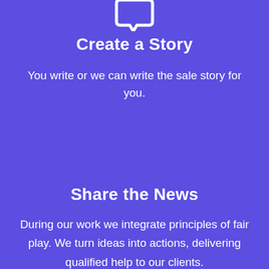[Figure (illustration): White outline icon of a chat bubble or speech box against purple background, partially cropped at top]
Create a Story
You write or we can write the sale story for you.
Share the News
During our work we integrate principles of fair play. We turn ideas into actions, delivering qualified help to our clients.